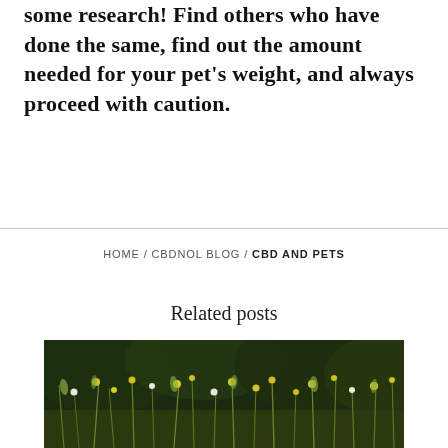some research! Find others who have done the same, find out the amount needed for your pet's weight, and always proceed with caution.
HOME / CBDNOL BLOG / CBD AND PETS
Related posts
[Figure (photo): A photograph of a wildflower meadow with yellow and white flowers, tall green grasses, and a dark blurred background of trees.]